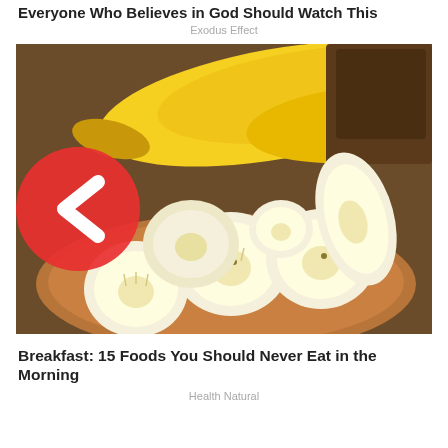Everyone Who Believes in God Should Watch This
Exodus Effect
[Figure (photo): Photo of sliced bananas on a wooden plate with whole bananas in background and a red circle with back arrow (navigation chevron) overlaid on the top-left corner]
Breakfast: 15 Foods You Should Never Eat in the Morning
Health Natural